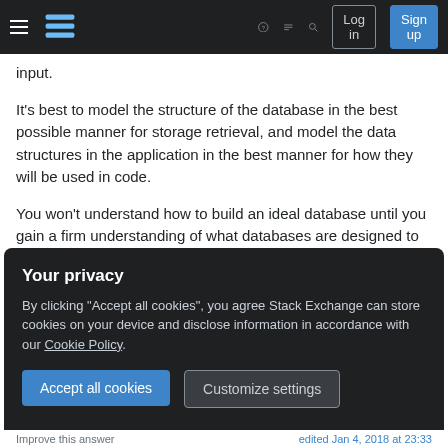Stack Exchange navigation bar with hamburger menu, logo, help, chat, search icons, Log in and Sign up buttons
input.
It's best to model the structure of the database in the best possible manner for storage retrieval, and model the data structures in the application in the best manner for how they will be used in code.
You won't understand how to build an ideal database until you gain a firm understanding of what databases are designed to accomplish.
The point is, there is no 1-1 mapping from DB to any
Your privacy
By clicking "Accept all cookies", you agree Stack Exchange can store cookies on your device and disclose information in accordance with our Cookie Policy.
Accept all cookies
Customize settings
edited Jan 4, 2018 at 23:33
Improve this answer